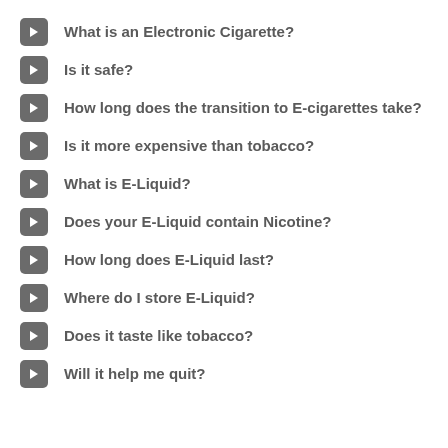What is an Electronic Cigarette?
Is it safe?
How long does the transition to E-cigarettes take?
Is it more expensive than tobacco?
What is E-Liquid?
Does your E-Liquid contain Nicotine?
How long does E-Liquid last?
Where do I store E-Liquid?
Does it taste like tobacco?
Will it help me quit?